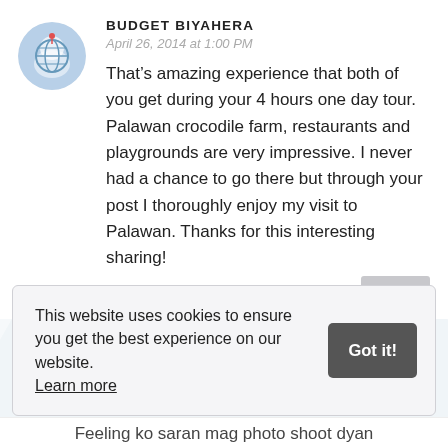BUDGET BIYAHERA
April 26, 2014 at 1:00 PM
That’s amazing experience that both of you get during your 4 hours one day tour. Palawan crocodile farm, restaurants and playgrounds are very impressive. I never had a chance to go there but through your post I thoroughly enjoy my visit to Palawan. Thanks for this interesting sharing!
Reply
This website uses cookies to ensure you get the best experience on our website. Learn more
Got it!
Feeling ko saran mag photo shoot dyan